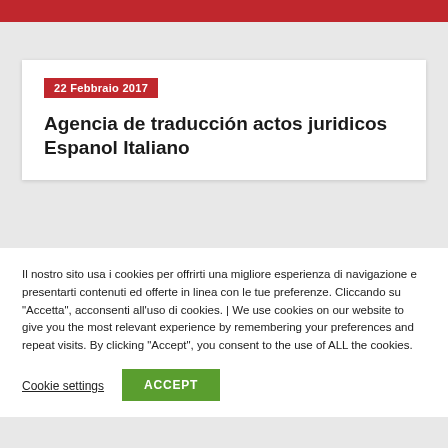22 Febbraio 2017
Agencia de traducción actos juridicos Espanol Italiano
Il nostro sito usa i cookies per offrirti una migliore esperienza di navigazione e presentarti contenuti ed offerte in linea con le tue preferenze. Cliccando su "Accetta", acconsenti all'uso di cookies. | We use cookies on our website to give you the most relevant experience by remembering your preferences and repeat visits. By clicking "Accept", you consent to the use of ALL the cookies.
Cookie settings
ACCEPT